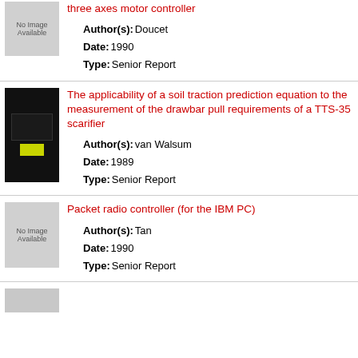three axes motor controller
Author(s): Doucet
Date: 1990
Type: Senior Report
[Figure (other): No Image Available placeholder thumbnail]
The applicability of a soil traction prediction equation to the measurement of the drawbar pull requirements of a TTS-35 scarifier
Author(s): van Walsum
Date: 1989
Type: Senior Report
[Figure (photo): Dark cover image of document with green/yellow label]
Packet radio controller (for the IBM PC)
Author(s): Tan
Date: 1990
Type: Senior Report
[Figure (other): No Image Available placeholder thumbnail]